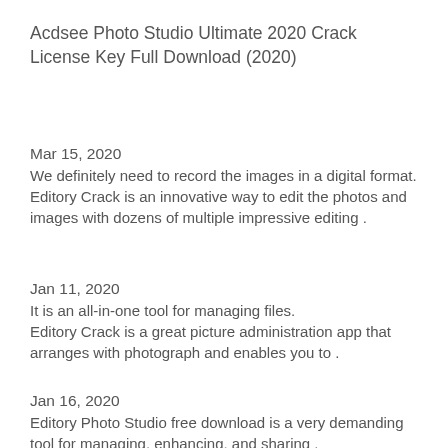Acdsee Photo Studio Ultimate 2020 Crack License Key Full Download (2020)
Mar 15, 2020
We definitely need to record the images in a digital format.
Editory Crack is an innovative way to edit the photos and images with dozens of multiple impressive editing .
Jan 11, 2020
It is an all-in-one tool for managing files.
Editory Crack is a great picture administration app that arranges with photograph and enables you to .
Jan 16, 2020
Editory Photo Studio free download is a very demanding tool for managing, enhancing, and sharing .